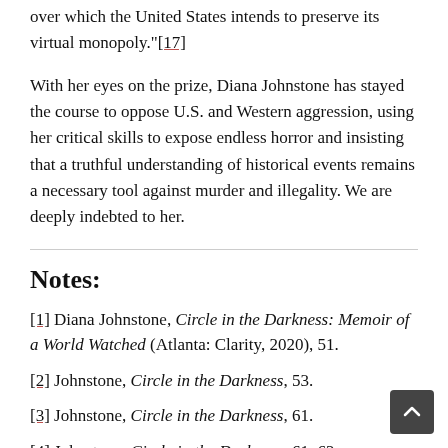over which the United States intends to preserve its virtual monopoly."[17]
With her eyes on the prize, Diana Johnstone has stayed the course to oppose U.S. and Western aggression, using her critical skills to expose endless horror and insisting that a truthful understanding of historical events remains a necessary tool against murder and illegality. We are deeply indebted to her.
Notes:
[1] Diana Johnstone, Circle in the Darkness: Memoir of a World Watched (Atlanta: Clarity, 2020), 51.
[2] Johnstone, Circle in the Darkness, 53.
[3] Johnstone, Circle in the Darkness, 61.
[4] Johnstone, Circle in the Darkness, 61–62.